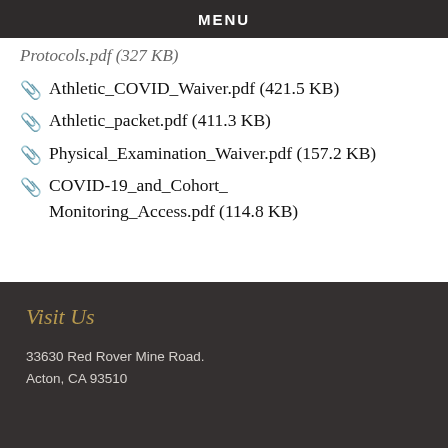MENU
Protocols.pdf (327 KB)
Athletic_COVID_Waiver.pdf (421.5 KB)
Athletic_packet.pdf (411.3 KB)
Physical_Examination_Waiver.pdf (157.2 KB)
COVID-19_and_Cohort_Monitoring_Access.pdf (114.8 KB)
Visit Us
33630 Red Rover Mine Road.
Acton, CA 93510